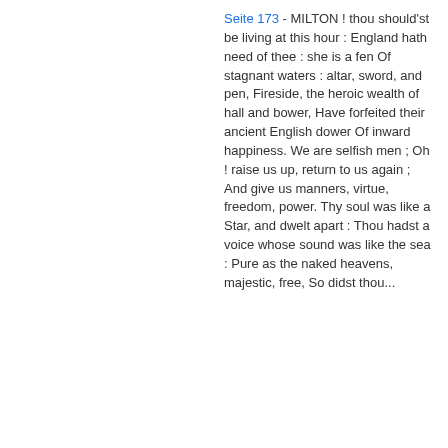Seite 173 - MILTON ! thou should'st be living at this hour : England hath need of thee : she is a fen Of stagnant waters : altar, sword, and pen, Fireside, the heroic wealth of hall and bower, Have forfeited their ancient English dower Of inward happiness. We are selfish men ; Oh ! raise us up, return to us again ; And give us manners, virtue, freedom, power. Thy soul was like a Star, and dwelt apart : Thou hadst a voice whose sound was like the sea : Pure as the naked heavens, majestic, free, So didst thou...